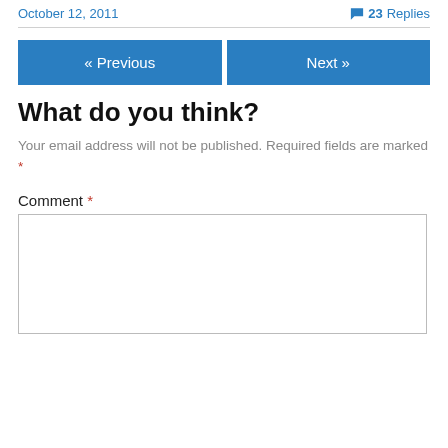October 12, 2011   23 Replies
« Previous   Next »
What do you think?
Your email address will not be published. Required fields are marked *
Comment *